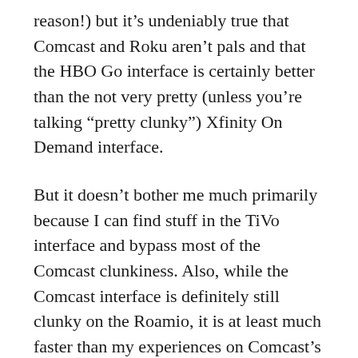reason!) but it’s undeniably true that Comcast and Roku aren’t pals and that the HBO Go interface is certainly better than the not very pretty (unless you’re talking “pretty clunky”) Xfinity On Demand interface.
But it doesn’t bother me much primarily because I can find stuff in the TiVo interface and bypass most of the Comcast clunkiness. Also, while the Comcast interface is definitely still clunky on the Roamio, it is at least much faster than my experiences on Comcast’s old Motorola set top box.
I tried to find a video showcasing access both through TiVo’s integrated search and through the clunky menus, but I couldn’t so I made a screen recording myself showing both.